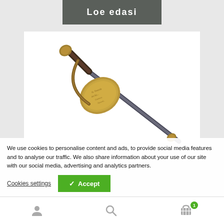Loe edasi
[Figure (photo): Close-up photograph of a historical sword/sabre showing the brass hand guard (tsuba/guard plate) with engraved text, dark leather-wrapped grip, and blade against a white background.]
We use cookies to personalise content and ads, to provide social media features and to analyse our traffic. We also share information about your use of our site with our social media, advertising and analytics partners.
Cookies settings
✓ Accept